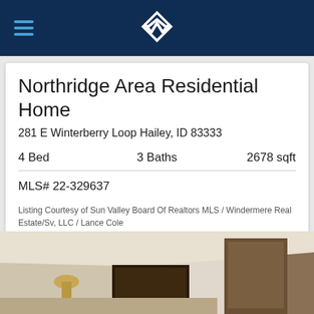Northridge Area Residential Home listing header with Windermere logo
Northridge Area Residential Home
281 E Winterberry Loop Hailey, ID 83333
4 Bed    3 Baths    2678 sqft
MLS# 22-329637
Listing Courtesy of Sun Valley Board Of Realtors MLS / Windermere Real Estate/Sv, LLC / Lance Cole
[Figure (photo): Interior photo of a residential home showing ceiling, walls, framed artwork and a lamp]